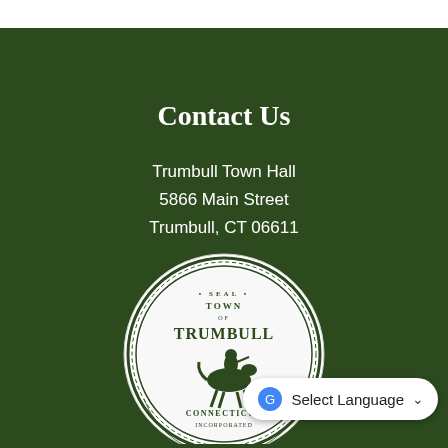Contact Us
Trumbull Town Hall
5866 Main Street
Trumbull, CT 06611
Phone: 203-452-5000
View Staff Directory
[Figure (logo): Seal of the Town of Trumbull, Connecticut — circular seal with decorative border, text reading SEAL TOWN OF TRUMBULL CONNECTICUT INCORPORATED, with a figure on horseback in the center]
Select Language